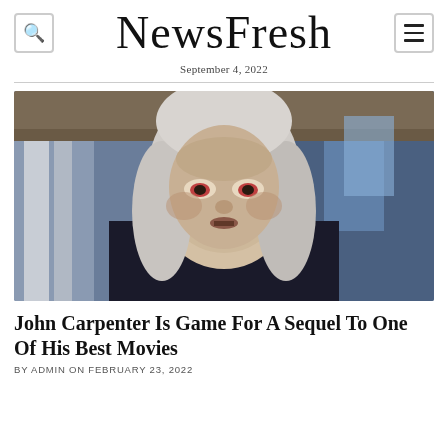NewsFresh
September 4, 2022
[Figure (photo): A pale, gaunt man with long white-gray hair, red-rimmed eyes, and aged makeup — resembling a vampire or horror movie character — leaning forward against a dark background with blue-tinted architecture behind him.]
John Carpenter Is Game For A Sequel To One Of His Best Movies
BY ADMIN ON FEBRUARY 23, 2022